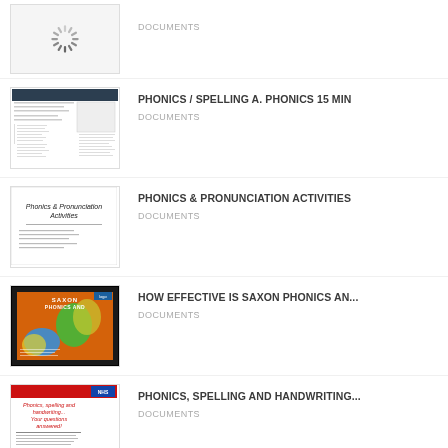DOCUMENTS
[Figure (screenshot): Loading spinner thumbnail]
PHONICS / SPELLING A. PHONICS 15 MIN
DOCUMENTS
[Figure (screenshot): Worksheet document thumbnail]
PHONICS & PRONUNCIATION ACTIVITIES
DOCUMENTS
[Figure (screenshot): Phonics and Pronunciation Activities slide thumbnail]
HOW EFFECTIVE IS SAXON PHONICS AN...
DOCUMENTS
[Figure (screenshot): Saxon Phonics colorful presentation thumbnail with orange and blue background]
PHONICS, SPELLING AND HANDWRITING...
DOCUMENTS
[Figure (screenshot): Phonics, spelling and handwriting document with red header thumbnail]
View More